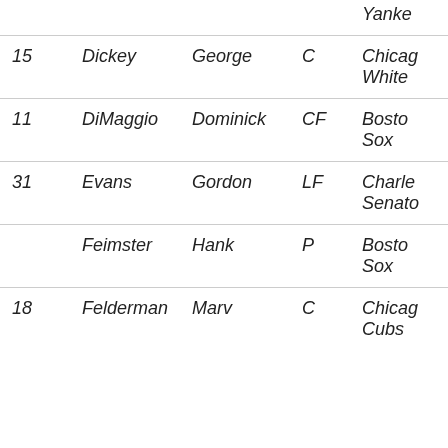| # | Last | First | Pos | Team |
| --- | --- | --- | --- | --- |
|  |  |  |  | Yanke... |
| 15 | Dickey | George | C | Chicago White... |
| 11 | DiMaggio | Dominick | CF | Boston Sox |
| 31 | Evans | Gordon | LF | Charles Senato... |
|  | Feimster | Hank | P | Boston Sox |
| 18 | Felderman | Marv | C | Chicago Cubs |